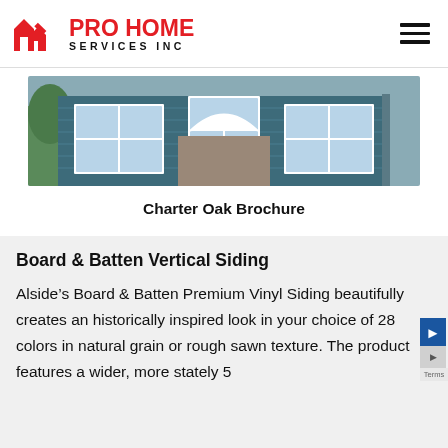[Figure (logo): Pro Home Services Inc logo with red house/arrow icon and red PRO HOME text with black SERVICES INC subtitle]
[Figure (photo): Photograph of a house exterior with dark teal/blue vinyl siding and white-trimmed windows]
Charter Oak Brochure
Board & Batten Vertical Siding
Alside’s Board & Batten Premium Vinyl Siding beautifully creates an historically inspired look in your choice of 28 colors in natural grain or rough sawn texture. The product features a wider, more stately 5